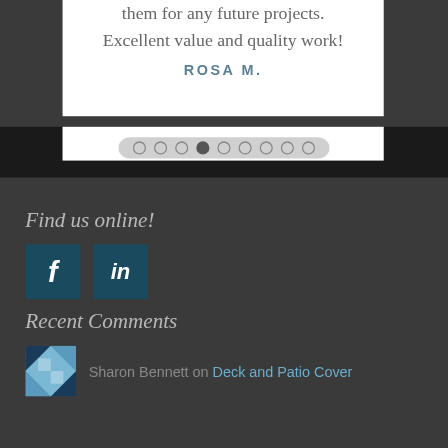them for any future projects. Excellent value and quality work!
ROSA M.
[Figure (infographic): Carousel dot navigation indicator showing 10 dots in a pill-shaped container, with the 4th dot filled/active and others hollow, on a dark wood-textured background]
Find us online!
[Figure (logo): Facebook logo icon — white 'f' on dark teal square background]
[Figure (logo): LinkedIn logo icon — white 'in' on dark teal square background]
Recent Comments
[Figure (photo): Small square avatar thumbnail with geometric blue and white pattern]
Sharon Bennett on Deck and Patio Cover